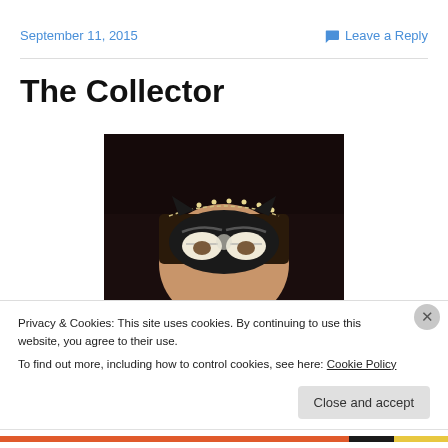September 11, 2015
Leave a Reply
The Collector
[Figure (photo): A person wearing a black cat mask with decorative rhinestone headband and painted eyebrows/eye details, photographed against a dark background.]
Privacy & Cookies: This site uses cookies. By continuing to use this website, you agree to their use.
To find out more, including how to control cookies, see here: Cookie Policy